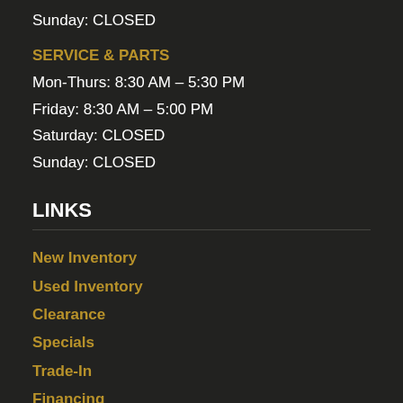Sunday: CLOSED
SERVICE & PARTS
Mon-Thurs: 8:30 AM – 5:30 PM
Friday: 8:30 AM – 5:00 PM
Saturday: CLOSED
Sunday: CLOSED
LINKS
New Inventory
Used Inventory
Clearance
Specials
Trade-In
Financing
Service